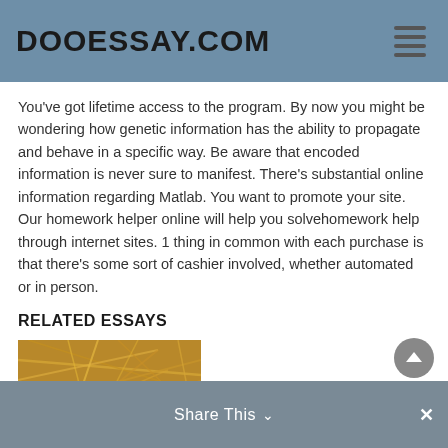DOOESSAY.COM
You've got lifetime access to the program. By now you might be wondering how genetic information has the ability to propagate and behave in a specific way. Be aware that encoded information is never sure to manifest. There's substantial online information regarding Matlab. You want to promote your site. Our homework helper online will help you solvehomework help through internet sites. 1 thing in common with each purchase is that there's some sort of cashier involved, whether automated or in person.
RELATED ESSAYS
[Figure (photo): Close-up photo of dry straw or hay, golden-brown color]
Share This